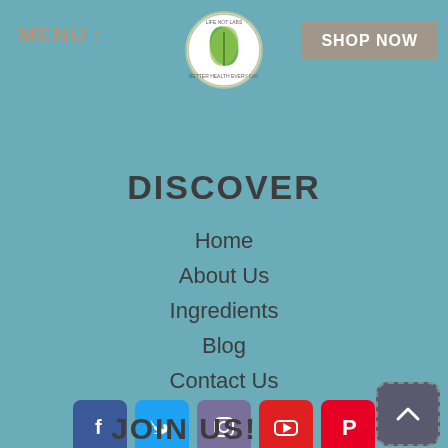MENU :
[Figure (logo): Life Not Labs circular logo with green leaf]
SHOP NOW
DISCOVER
Home
About Us
Ingredients
Blog
Contact Us
[Figure (infographic): Social media icons row: Facebook, Twitter, Instagram, YouTube, Pinterest]
[Figure (infographic): Back to top arrow button]
JOIN US!